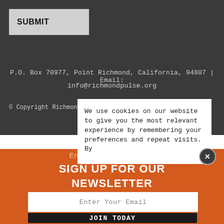SUBMIT
P.O. Box 70977, Point Richmond, California, 94807 | Email:
info@richmondpulse.org
© Copyright Richmond
We use cookies on our website to give you the most relevant experience by remembering your preferences and repeat visits. By
Enjoy our content?
SIGN UP FOR OUR NEWSLETTER
Enter Your Email
JOIN TODAY